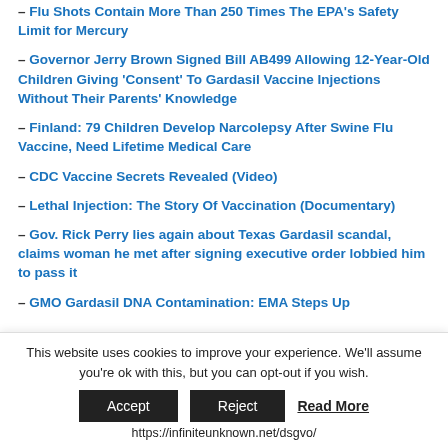– Flu Shots Contain More Than 250 Times The EPA's Safety Limit for Mercury
– Governor Jerry Brown Signed Bill AB499 Allowing 12-Year-Old Children Giving 'Consent' To Gardasil Vaccine Injections Without Their Parents' Knowledge
– Finland: 79 Children Develop Narcolepsy After Swine Flu Vaccine, Need Lifetime Medical Care
– CDC Vaccine Secrets Revealed (Video)
– Lethal Injection: The Story Of Vaccination (Documentary)
– Gov. Rick Perry lies again about Texas Gardasil scandal, claims woman he met after signing executive order lobbied him to pass it
– GMO Gardasil DNA Contamination: EMA Steps Up
This website uses cookies to improve your experience. We'll assume you're ok with this, but you can opt-out if you wish.
Accept | Reject | Read More
https://infiniteunknown.net/dsgvo/